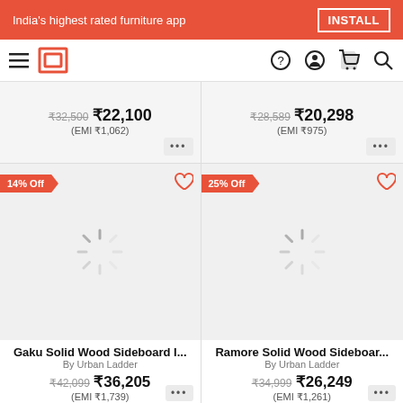India's highest rated furniture app  INSTALL
[Figure (screenshot): Urban Ladder furniture e-commerce app navigation bar with hamburger menu, logo, help, account, cart, and search icons]
₹32,500 ₹22,100 (EMI ₹1,062)
₹28,589 ₹20,298 (EMI ₹975)
14% Off
25% Off
Gaku Solid Wood Sideboard I... By Urban Ladder ₹42,099 ₹36,205 (EMI ₹1,739)
Ramore Solid Wood Sideboar... By Urban Ladder ₹34,999 ₹26,249 (EMI ₹1,261)